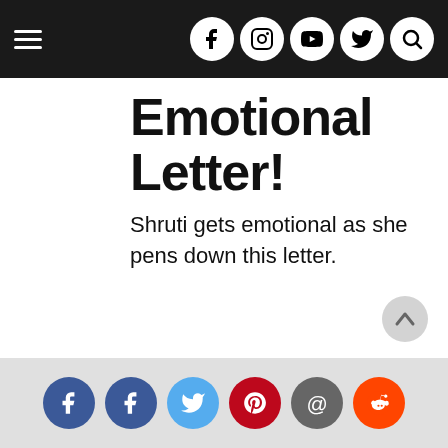Navigation bar with hamburger menu and social icons (Facebook, Instagram, YouTube, Twitter, Search)
Emotional Letter!
Shruti gets emotional as she pens down this letter.
[Figure (other): Scroll-to-top circular button]
Social share icons: Facebook, Facebook, Twitter, Pinterest, Email, Reddit